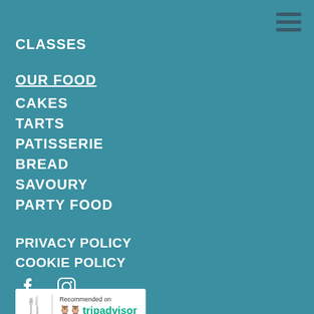CLASSES
OUR FOOD
CAKES
TARTS
PATISSERIE
BREAD
SAVOURY
PARTY FOOD
PRIVACY POLICY
COOKIE POLICY
[Figure (logo): TripAdvisor Recommended on badge with fork icon]
[Figure (illustration): Facebook and Instagram social media icons in white]